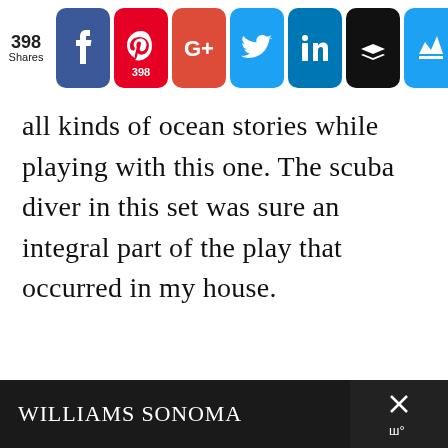[Figure (screenshot): Social sharing bar showing 398 Shares with buttons for Facebook, Pinterest (398), Google+, Twitter, LinkedIn, Buffer, and a crown icon app.]
all kinds of ocean stories while playing with this one. The scuba diver in this set was sure an integral part of the play that occurred in my house.
[Figure (screenshot): Williams Sonoma advertisement banner at bottom of page with dark background and close button (X) on right side.]